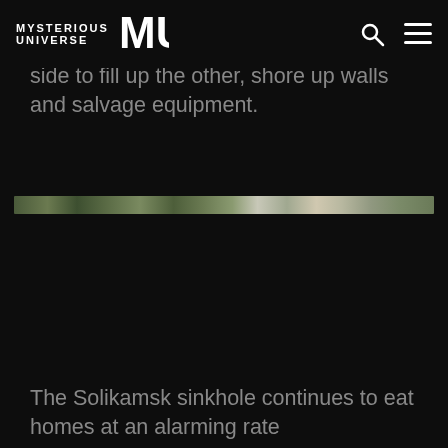MYSTERIOUS UNIVERSE | MU logo
operations stayed halted while crews continued to pump brine out from one side to fill up the other, shore up walls and salvage equipment.
[Figure (photo): A narrow horizontal aerial or satellite strip image showing terrain with green and gray coloring, likely showing ground/landscape near a sinkhole area.]
The Solikamsk sinkhole continues to eat homes at an alarming rate